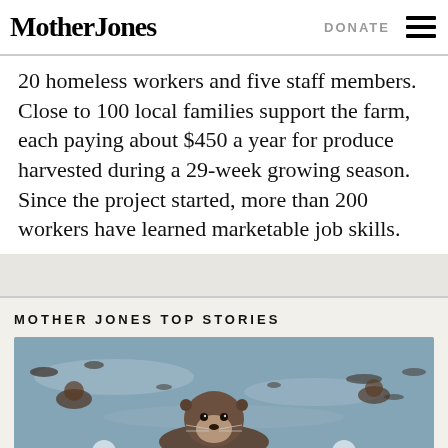Mother Jones | DONATE
20 homeless workers and five staff members. Close to 100 local families support the farm, each paying about $450 a year for produce harvested during a 29-week growing season. Since the project started, more than 200 workers have learned marketable job skills.
MOTHER JONES TOP STORIES
[Figure (photo): A sea otter floating on its back in the water, with other otters visible in the background on a calm blue-gray body of water.]